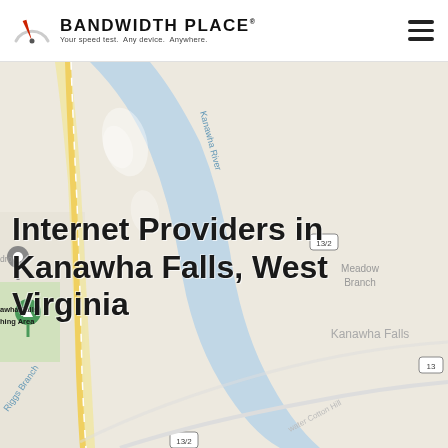BANDWIDTH PLACE — Your speed test. Any device. Anywhere.
[Figure (map): Google Maps view of Kanawha Falls, West Virginia area showing the Kanawha River, Riggs Branch, Meadow Branch, road 13/2, road 13, and local landmarks including Kanawha Falls Fishing Area. A yellow road curves along the left side. The river is shown in light blue.]
Internet Providers in Kanawha Falls, West Virginia